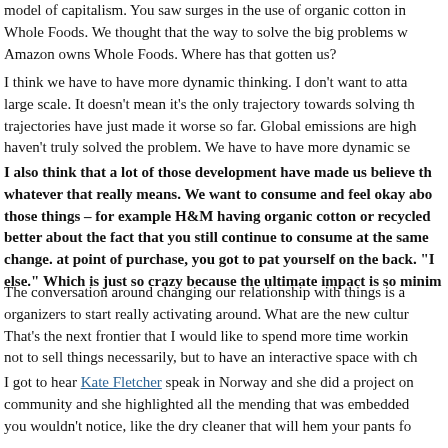model of capitalism. You saw surges in the use of organic cotton in Whole Foods. We thought that the way to solve the big problems w Amazon owns Whole Foods. Where has that gotten us?
I think we have to have more dynamic thinking. I don't want to atta large scale. It doesn't mean it's the only trajectory towards solving th trajectories have just made it worse so far. Global emissions are high haven't truly solved the problem. We have to have more dynamic se
I also think that a lot of those development have made us believe th whatever that really means. We want to consume and feel okay abo those things – for example H&M having organic cotton or recycled better about the fact that you still continue to consume at the same change. at point of purchase, you got to pat yourself on the back. "I else." Which is just so crazy because the ultimate impact is so minim
The conversation around changing our relationship with things is a organizers to start really activating around. What are the new cultur That's the next frontier that I would like to spend more time workin not to sell things necessarily, but to have an interactive space with ch
I got to hear Kate Fletcher speak in Norway and she did a project on community and she highlighted all the mending that was embedded you wouldn't notice, like the dry cleaner that will hem your pants fo